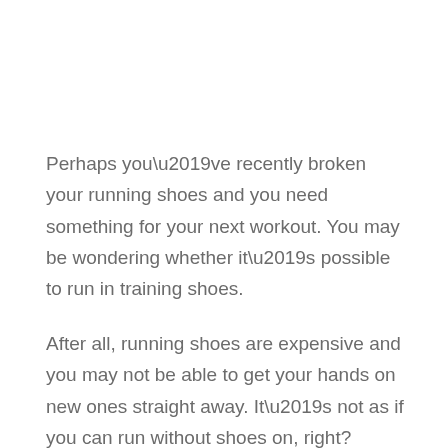Perhaps you’ve recently broken your running shoes and you need something for your next workout. You may be wondering whether it’s possible to run in training shoes.
After all, running shoes are expensive and you may not be able to get your hands on new ones straight away. It’s not as if you can run without shoes on, right?